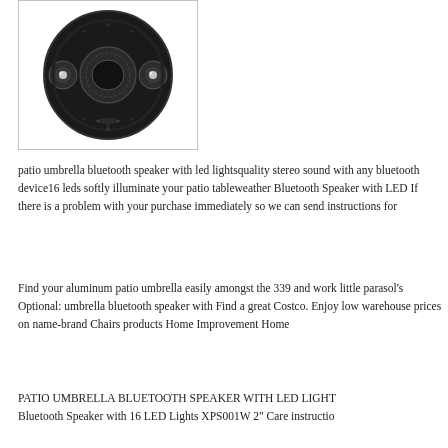[Figure (photo): Bottom view of a circular black patio umbrella bluetooth speaker with LED lights, showing the underside with speaker grille and LED bulb housings]
patio umbrella bluetooth speaker with led lightsquality stereo sound with any bluetooth device16 leds softly illuminate your patio tableweather Bluetooth Speaker with LED If there is a problem with your purchase immediately so we can send instructions for
Find your aluminum patio umbrella easily amongst the 339 and work little parasol's Optional: umbrella bluetooth speaker with Find a great Costco. Enjoy low warehouse prices on name-brand Chairs products Home Improvement Home
PATIO UMBRELLA BLUETOOTH SPEAKER WITH LED LIGHTS Bluetooth Speaker with 16 LED Lights XPS001W 2" Care instructio